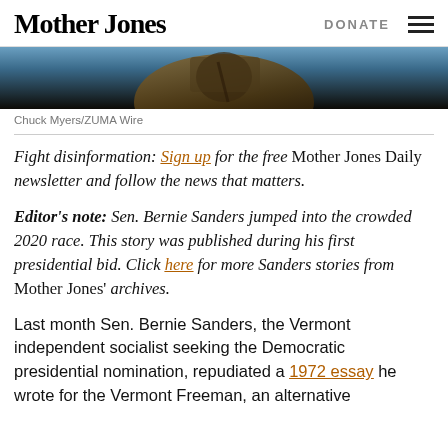Mother Jones  DONATE
[Figure (photo): Cropped photo of a person in a suit, partial view from shoulders up, blurred background with blue tones]
Chuck Myers/ZUMA Wire
Fight disinformation: Sign up for the free Mother Jones Daily newsletter and follow the news that matters.
Editor's note: Sen. Bernie Sanders jumped into the crowded 2020 race. This story was published during his first presidential bid. Click here for more Sanders stories from Mother Jones' archives.
Last month Sen. Bernie Sanders, the Vermont independent socialist seeking the Democratic presidential nomination, repudiated a 1972 essay he wrote for the Vermont Freeman, an alternative